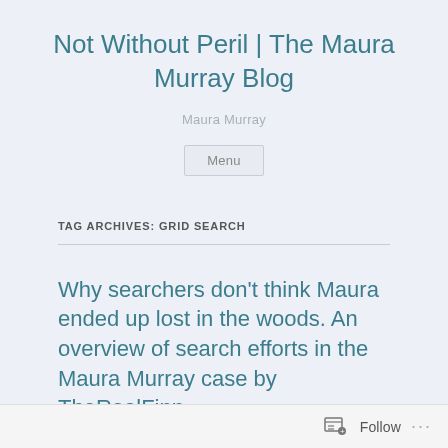Not Without Peril | The Maura Murray Blog
Maura Murray
Menu
TAG ARCHIVES: GRID SEARCH
Why searchers don’t think Maura ended up lost in the woods. An overview of search efforts in the Maura Murray case by TheRealFinn.
Follow ...